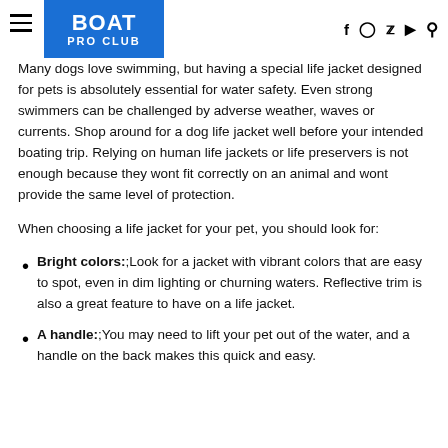BOAT PRO CLUB
Many dogs love swimming, but having a special life jacket designed for pets is absolutely essential for water safety. Even strong swimmers can be challenged by adverse weather, waves or currents. Shop around for a dog life jacket well before your intended boating trip. Relying on human life jackets or life preservers is not enough because they wont fit correctly on an animal and wont provide the same level of protection.
When choosing a life jacket for your pet, you should look for:
Bright colors:; Look for a jacket with vibrant colors that are easy to spot, even in dim lighting or churning waters. Reflective trim is also a great feature to have on a life jacket.
A handle:; You may need to lift your pet out of the water, and a handle on the back makes this quick and easy.